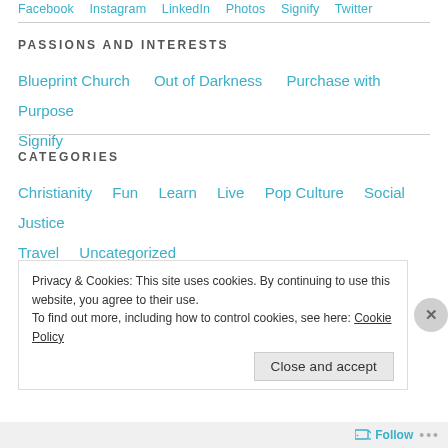Facebook  Instagram  LinkedIn  Photos  Signify  Twitter
PASSIONS AND INTERESTS
Blueprint Church    Out of Darkness    Purchase with Purpose    Signify
CATEGORIES
Christianity    Fun    Learn    Live    Pop Culture    Social Justice    Travel    Uncategorized
Privacy & Cookies: This site uses cookies. By continuing to use this website, you agree to their use.
To find out more, including how to control cookies, see here: Cookie Policy
Close and accept
Follow ...